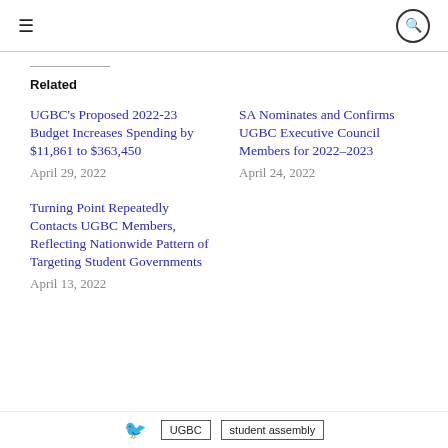≡ [menu icon] | [search icon]
Related
UGBC's Proposed 2022-23 Budget Increases Spending by $11,861 to $363,450 — April 29, 2022
SA Nominates and Confirms UGBC Executive Council Members for 2022–2023 — April 24, 2022
Turning Point Repeatedly Contacts UGBC Members, Reflecting Nationwide Pattern of Targeting Student Governments — April 13, 2022
UGBC | student assembly